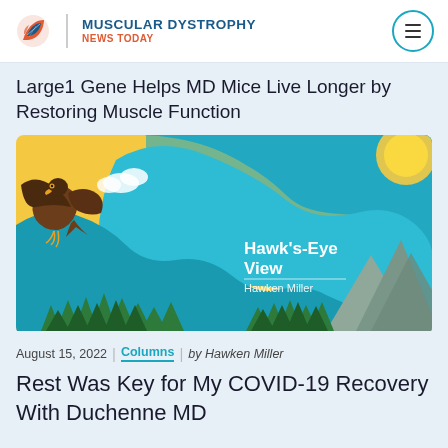MUSCULAR DYSTROPHY NEWS TODAY
Large1 Gene Helps MD Mice Live Longer by Restoring Muscle Function
[Figure (illustration): Hawk's-Eye View column banner illustration featuring a hawk/eagle flying over a mountain and forest landscape with a teal blob design. Text reads 'Hawk's-Eye View' and 'Hawken Miller']
August 15, 2022 | Columns | by Hawken Miller
Rest Was Key for My COVID-19 Recovery With Duchenne MD